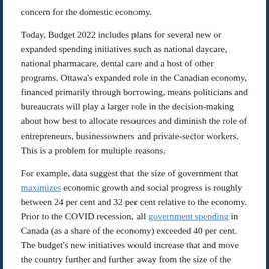concern for the domestic economy.
Today, Budget 2022 includes plans for several new or expanded spending initiatives such as national daycare, national pharmacare, dental care and a host of other programs. Ottawa’s expanded role in the Canadian economy, financed primarily through borrowing, means politicians and bureaucrats will play a larger role in the decision-making about how best to allocate resources and diminish the role of entrepreneurs, businessowners and private-sector workers. This is a problem for multiple reasons.
For example, data suggest that the size of government that maximizes economic growth and social progress is roughly between 24 per cent and 32 per cent relative to the economy. Prior to the COVID recession, all government spending in Canada (as a share of the economy) exceeded 40 per cent. The budget’s new initiatives would increase that and move the country further and further away from the size of the government associated with the strongest economic growth and social progress. More government not only leads to higher taxes (either today or in the future) to pay for the new